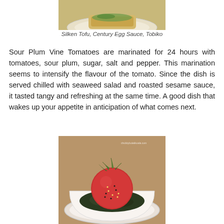[Figure (photo): Top portion of a plate with food dish (Silken Tofu, Century Egg Sauce, Tobiko) cropped at top of page]
Silken Tofu, Century Egg Sauce, Tobiko
Sour Plum Vine Tomatoes are marinated for 24 hours with tomatoes, sour plum, sugar, salt and pepper. This marination seems to intensify the flavour of the tomato. Since the dish is served chilled with seaweed salad and roasted sesame sauce, it tasted tangy and refreshing at the same time. A good dish that wakes up your appetite in anticipation of what comes next.
[Figure (photo): A red tomato on a bed of dark seaweed salad in a white bowl, garnished with sesame seeds and herbs, with watermark chubbybotakkoala.com]